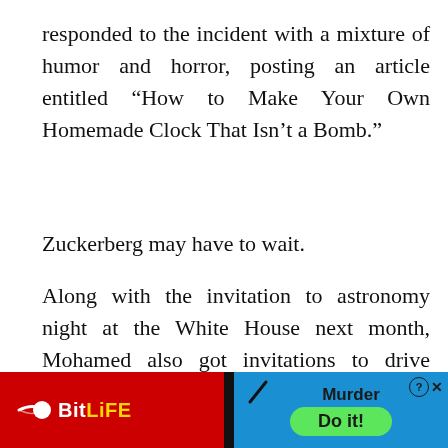responded to the incident with a mixture of humor and horror, posting an article entitled “How to Make Your Own Homemade Clock That Isn’t a Bomb.”
Zuckerberg may have to wait.
Along with the invitation to astronomy night at the White House next month, Mohamed also got invitations to drive NASA’s Opportunity rover, tour MIT, intern at Twitter and visit Google.
[Figure (other): BitLife mobile game advertisement banner. Red background on left with white sperm logo and 'BitLife' text (Bit in white, Life in gold). Black divider. Blue background on right with 'Murder' text and 'Do it!' green oval button. Question mark and X icons in top right corner.]